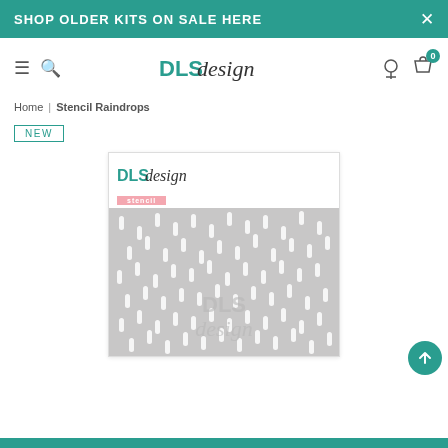SHOP OLDER KITS ON SALE HERE
[Figure (logo): DLS design logo in teal and black script]
Home | Stencil Raindrops
NEW
[Figure (photo): Product image showing Stencil Raindrops packaging with DLS design logo and a grey stencil pattern with raindrop cutouts and watermark]